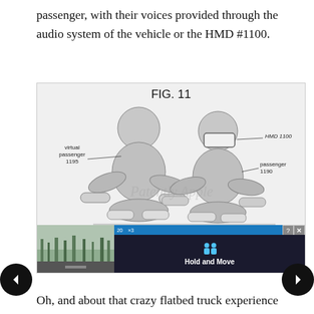passenger, with their voices provided through the audio system of the vehicle or the HMD #1100.
[Figure (illustration): FIG. 11 – Patent diagram showing two seated humanoid figures side by side. The left figure is labeled 'virtual passenger 1195' and the right figure wearing an HMD device is labeled 'passenger 1190'. The HMD on the right figure is labeled 'HMD 1100'. Below the diagram is an advertisement overlay showing a dark screen with the text 'Hold and Move' and two navigation arrows (left and right) on either side of the figure box. A 'Patently Apple' watermark is visible across the diagram.]
Oh, and about that crazy flatbed truck experience